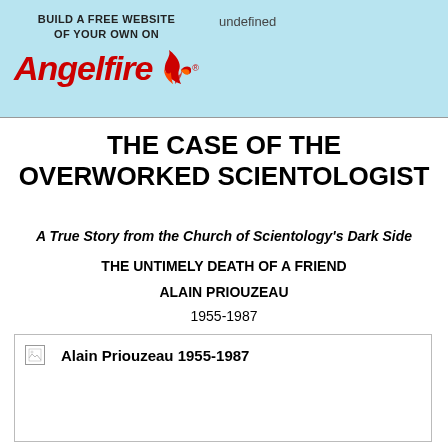BUILD A FREE WEBSITE OF YOUR OWN ON Angelfire
undefined
THE CASE OF THE OVERWORKED SCIENTOLOGIST
A True Story from the Church of Scientology's Dark Side
THE UNTIMELY DEATH OF A FRIEND
ALAIN PRIOUZEAU
1955-1987
[Figure (photo): Broken image placeholder with caption: Alain Priouzeau 1955-1987]